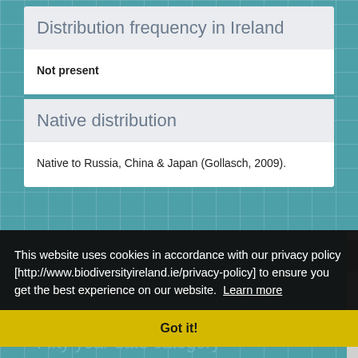Distribution frequency in Ireland
Not present
Native distribution
Native to Russia, China & Japan (Gollasch, 2009).
This website uses cookies in accordance with our privacy policy [http://www.biodiversityireland.ie/privacy-policy] to ensure you get the best experience on our website. Learn more
Got it!
2001-2010
Fifty year date category